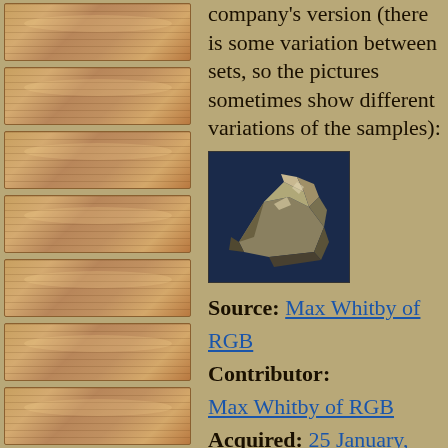[Figure (other): Navigation thumbnails - wooden texture tiles on left side]
company's version (there is some variation between sets, so the pictures sometimes show different variations of the samples):
[Figure (photo): Photo of a mineral/rock specimen, metallic-looking crystalline chunk on dark background]
Source: Max Whitby of RGB
Contributor: Max Whitby of RGB
Acquired: 25 January, 2003
Text Updated: 11 August, 2007
Price: Donated
Size: 0.2"
Purity: 99.9%